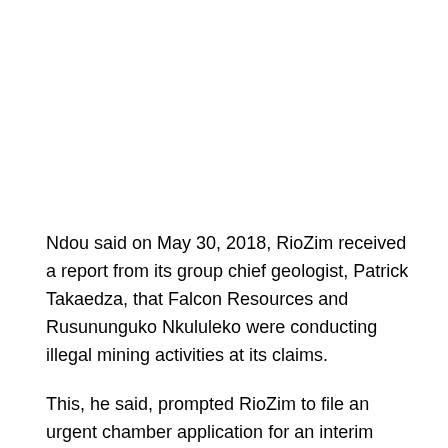Ndou said on May 30, 2018, RioZim received a report from its group chief geologist, Patrick Takaedza, that Falcon Resources and Rusununguko Nkululeko were conducting illegal mining activities at its claims.
This, he said, prompted RioZim to file an urgent chamber application for an interim interdict on June 6, 2018 and a provisional order was granted by the court, which order was served on Falcon Resources, Rusununguko Nkululeko, Aziz